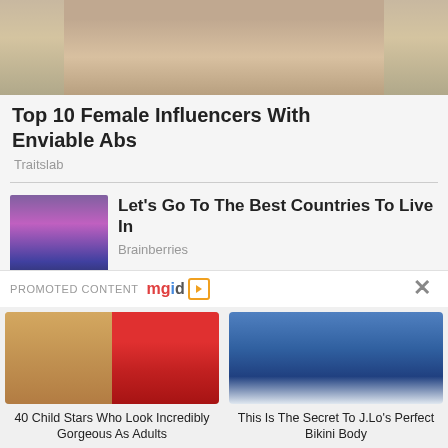[Figure (photo): Cropped photo of a woman showing abs, outdoor background]
Top 10 Female Influencers With Enviable Abs
Traitslab
[Figure (photo): Aerial cityscape at dusk viewed through a fisheye lens]
Let's Go To The Best Countries To Live In
Brainberries
[Figure (photo): Partial image of a pink/floral pattern, article about Mind-Blowing topics]
17 Mind-Blowing
PROMOTED CONTENT
[Figure (logo): mgid logo with play button icon]
[Figure (photo): Two female celebrities side by side — Kristen Bell and a young actress with glasses]
40 Child Stars Who Look Incredibly Gorgeous As Adults
[Figure (photo): Jennifer Lopez in a yellow bikini on a boat]
This Is The Secret To J.Lo's Perfect Bikini Body